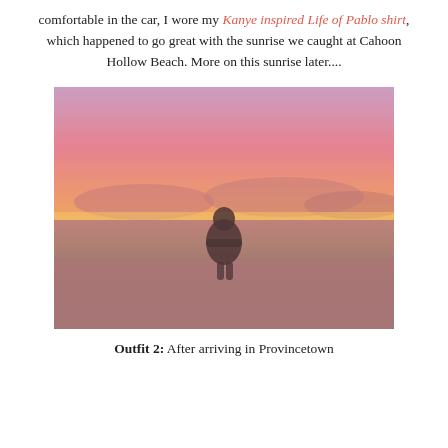comfortable in the car, I wore my Kanye inspired Life of Pablo shirt, which happened to go great with the sunrise we caught at Cahoon Hollow Beach. More on this sunrise later....
[Figure (photo): A person viewed from behind standing on a beach at sunrise, silhouetted against a vivid pink, orange, and purple sky with ocean waves visible.]
Outfit 2: After arriving in Provincetown